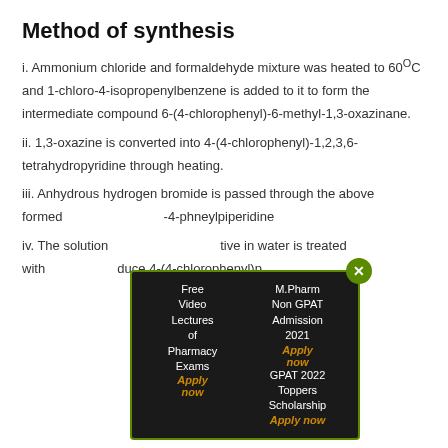Method of synthesis
i. Ammonium chloride and formaldehyde mixture was heated to 60°C and 1-chloro-4-isopropenylbenzene is added to it to form the intermediate compound 6-(4-chlorophenyl)-6-methyl-1,3-oxazinane.
ii. 1,3-oxazine is converted into 4-(4-chlorophenyl)-1,2,3,6-tetrahydropyridine through heating.
iii. Anhydrous hydrogen bromide is passed through the above formed [popup obscures] -4-phneylpiperidine...
iv. The solution [popup obscures] tive in water is treated with [popup obscures] duce 4-(4-chlorophenyl)...